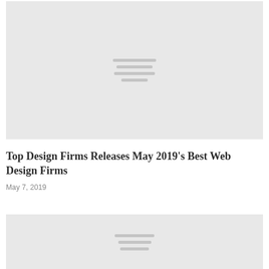[Figure (illustration): Gray placeholder image with horizontal lines in the center, representing a loading or thumbnail image]
Top Design Firms Releases May 2019’s Best Web Design Firms
May 7, 2019
[Figure (illustration): Gray placeholder image with horizontal lines in the center, representing a second loading or thumbnail image (partially visible)]